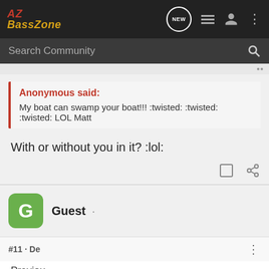AZ BassZone
Search Community
Anonymous said:
My boat can swamp your boat!!! :twisted: :twisted: :twisted: LOL Matt
With or without you in it? :lol:
Guest ·
#11 · De
Previou... work
[Figure (screenshot): Glock OPTIC READY SLIMLINE advertisement banner with MOS logo and FIND A DEALER button]